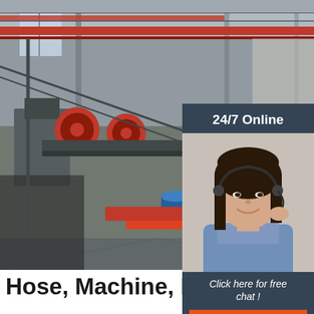[Figure (photo): Interior of a large industrial manufacturing factory with heavy machinery, red overhead crane beams, metal piping equipment on the factory floor, and large windows letting in natural light from the left side.]
[Figure (photo): Sidebar showing 24/7 Online customer service representative — a smiling woman with a headset — overlaid on the factory image, with a dark blue-gray background panel.]
Hose, Machine, Flanged D… Connectors
Duct Adapters. US Duct can adapt your duct to anything — a machine, a hose, or any outlet; however, there are some standard adapters. These include hose adapters, machine adapters, and adapters to transition from one connection